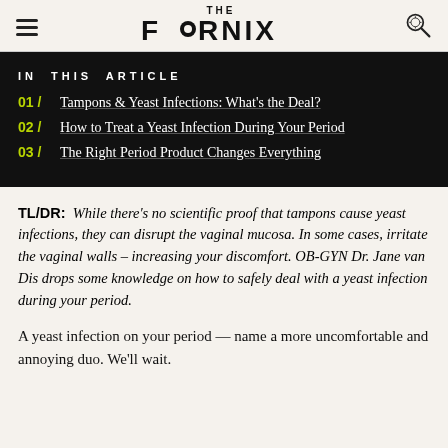THE FORNIX
01 / Tampons & Yeast Infections: What's the Deal?
02 / How to Treat a Yeast Infection During Your Period
03 / The Right Period Product Changes Everything
TL/DR: While there's no scientific proof that tampons cause yeast infections, they can disrupt the vaginal mucosa. In some cases, irritate the vaginal walls – increasing your discomfort. OB-GYN Dr. Jane van Dis drops some knowledge on how to safely deal with a yeast infection during your period.
A yeast infection on your period — name a more uncomfortable and annoying duo. We'll wait.